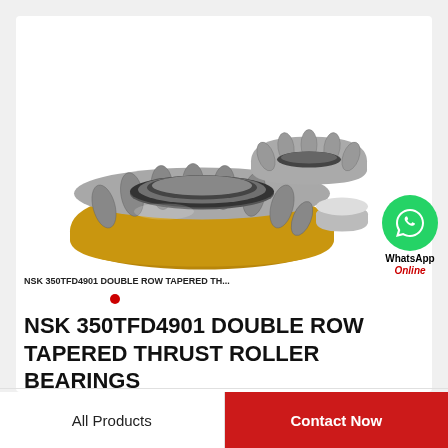[Figure (photo): NSK 350TFD4901 double row tapered thrust roller bearing shown disassembled with gold/silver metallic components on white background]
NSK 350TFD4901 DOUBLE ROW TAPERED TH...
[Figure (logo): WhatsApp green circle icon with white phone handset, labeled 'WhatsApp Online']
NSK 350TFD4901 DOUBLE ROW TAPERED THRUST ROLLER BEARINGS
All Products | Contact Now